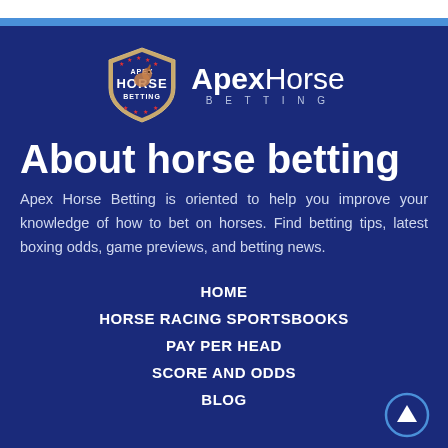[Figure (logo): Apex Horse Betting logo: shield emblem with horse head and text 'APEX HORSE BETTING', plus wordmark 'ApexHorse BETTING']
About horse betting
Apex Horse Betting is oriented to help you improve your knowledge of how to bet on horses. Find betting tips, latest boxing odds, game previews, and betting news.
HOME
HORSE RACING SPORTSBOOKS
PAY PER HEAD
SCORE AND ODDS
BLOG